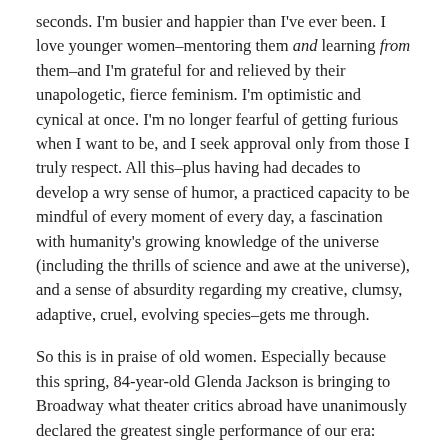seconds. I'm busier and happier than I've ever been. I love younger women–mentoring them and learning from them–and I'm grateful for and relieved by their unapologetic, fierce feminism. I'm optimistic and cynical at once. I'm no longer fearful of getting furious when I want to be, and I seek approval only from those I truly respect. All this–plus having had decades to develop a wry sense of humor, a practiced capacity to be mindful of every moment of every day, a fascination with humanity's growing knowledge of the universe (including the thrills of science and awe at the universe), and a sense of absurdity regarding my creative, clumsy, adaptive, cruel, evolving species–gets me through.
So this is in praise of old women. Especially because this spring, 84-year-old Glenda Jackson is bringing to Broadway what theater critics abroad have unanimously declared the greatest single performance of our era: King Lear herself.